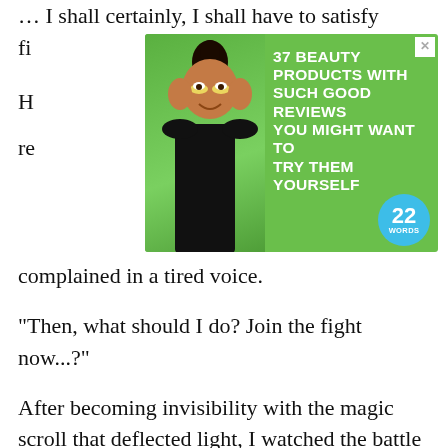… I shall certainly, I shall have to satisfy fi...
[Figure (other): Advertisement: 37 Beauty Products With Such Good Reviews You Might Want To Try Them Yourself — 22 Words]
complained in a tired voice.
“Then, what should I do? Join the fight now...?”
After becoming invisibility with the magic scroll that deflected light, I watched the battle from a distance—
Seeing Hoost was not in a good form, I started to think victory might be possib...
I wanted to rush into battle, but it was